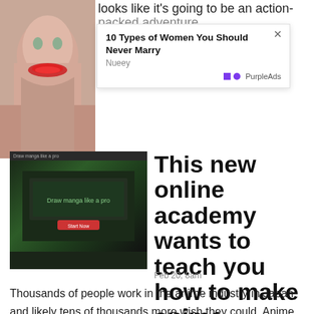[Figure (photo): Portrait photo of a woman with red lips, partially visible at top-left]
looks like it's going to be an action-packed adventure.
[Figure (screenshot): Advertisement popup: '10 Types of Women You Should Never Marry' by Nueey, branded with PurpleAds]
[Figure (screenshot): Thumbnail of Draw manga like a pro website/course]
This new online academy wants to teach you how to make anime.
Feb 20, 8am
Thousands of people work in the anime industry in Japan, and likely tens of thousands more wish they could. Anime has reached the mainstream in nearly every country in the world. Though there have been reports of low